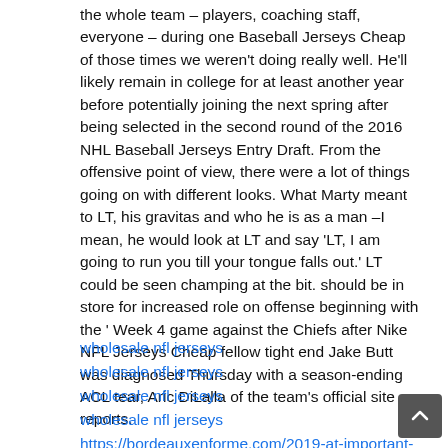the whole team – players, coaching staff, everyone – during one Baseball Jerseys Cheap of those times we weren't doing really well. He'll likely remain in college for at least another year before potentially joining the next spring after being selected in the second round of the 2016 NHL Baseball Jerseys Entry Draft. From the offensive point of view, there were a lot of things going on with different looks. What Marty meant to LT, his gravitas and who he is as a man –I mean, he would look at LT and say 'LT, I am going to run you till your tongue falls out.' LT could be seen champing at the bit. should be in store for increased role on offense beginning with the ' Week 4 game against the Chiefs after Nike NFL Jerseys Cheap fellow tight end Jake Butt was diagnosed Thursday with a season-ending ACL tear, Aric DiLalla of the team's official site reports.
wholesale nfl jerseys
wholesale nfl jerseys
wholesale nfl jerseys
wholesale nfl jerseys
https://bordeauxenforme.com/2019-at-important-age-spo basketball-jerseys-custom/
http://is.guvonligibicaklari.com/bugs_fans_cautions_i...